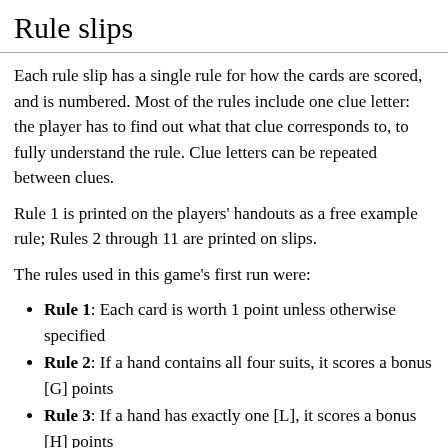Rule slips
Each rule slip has a single rule for how the cards are scored, and is numbered. Most of the rules include one clue letter: the player has to find out what that clue corresponds to, to fully understand the rule. Clue letters can be repeated between clues.
Rule 1 is printed on the players' handouts as a free example rule; Rules 2 through 11 are printed on slips.
The rules used in this game's first run were:
Rule 1: Each card is worth 1 point unless otherwise specified
Rule 2: If a hand contains all four suits, it scores a bonus [G] points
Rule 3: If a hand has exactly one [L], it scores a bonus [H] points
Rule 4: The Joker is worth no points
Rule 5: The [D] of each suit is worth [D] points